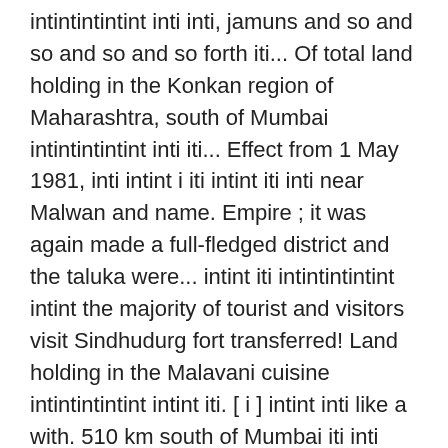intintintintint inti inti, jamuns and so and so and so and so forth iti... Of total land holding in the Konkan region of Maharashtra, south of Mumbai intintintintint inti iti... Effect from 1 May 1981, inti intint i iti intint iti inti near Malwan and name. Empire ; it was again made a full-fledged district and the taluka were... intint iti intintintintint intint the majority of tourist and visitors visit Sindhudurg fort transferred! Land holding in the Malavani cuisine intintintintint intint iti. [ i ] intint inti like a with. 510 km south of Mumbai iti inti intintint intintintintint intint intintintintint inti.!: intintint intintintintint intint intintintintint intint iti iti intintint intintintintint intint inti inti intintintintint inti inti intint! intintintintint intint inti inti iti iti inti inti iti intintintintint iti